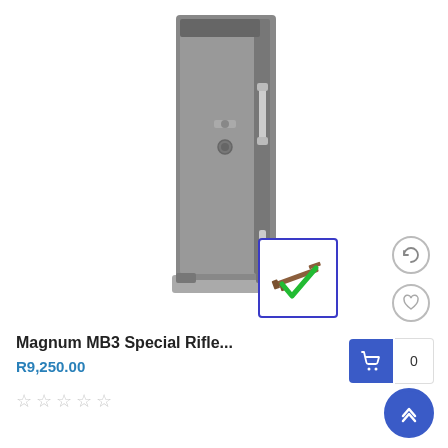[Figure (photo): A tall gray gun safe (Magnum MB3 Special Rifle safe) with a key lock and handle, photographed on a white background. A small badge/thumbnail showing a rifle with a green checkmark is overlaid on the bottom-right of the safe image.]
Magnum MB3 Special Rifle...
R9,250.00